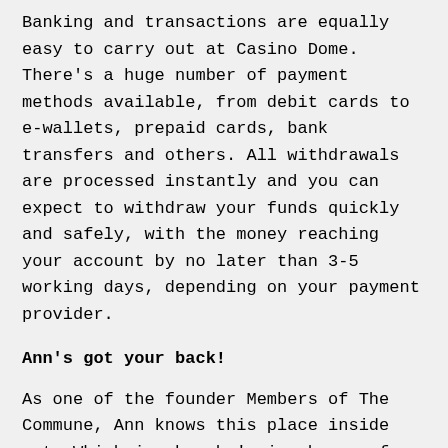Banking and transactions are equally easy to carry out at Casino Dome. There's a huge number of payment methods available, from debit cards to e-wallets, prepaid cards, bank transfers and others. All withdrawals are processed instantly and you can expect to withdraw your funds quickly and safely, with the money reaching your account by no later than 3-5 working days, depending on your payment provider.
Ann's got your back!
As one of the founder Members of The Commune, Ann knows this place inside out. Which is why she's in charge of an efficient, knowledgeable and multilingual customer support service, which will be on hand to reply to your queries about games, promotions, transactions and anything else you may need to know about. Support is available 24/7 and may be contacted via